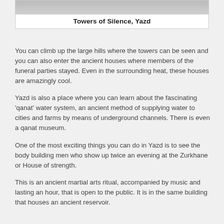[Figure (photo): Partial view of Towers of Silence, Yazd — photo cropped at top of page]
Towers of Silence, Yazd
You can climb up the large hills where the towers can be seen and you can also enter the ancient houses where members of the funeral parties stayed. Even in the surrounding heat, these houses are amazingly cool.
Yazd is also a place where you can learn about the fascinating 'qanat' water system, an ancient method of supplying water to cities and farms by means of underground channels. There is even a qanat museum.
One of the most exciting things you can do in Yazd is to see the body building men who show up twice an evening at the Zurkhane or House of strength.
This is an ancient martial arts ritual, accompanied by music and lasting an hour, that is open to the public. It is in the same building that houses an ancient reservoir.